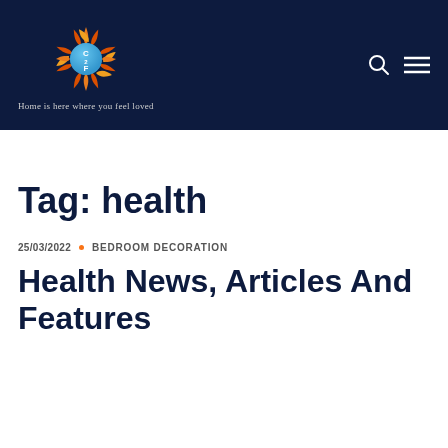C2F — Home is here where you feel loved
Tag: health
25/03/2022 • BEDROOM DECORATION
Health News, Articles And Features